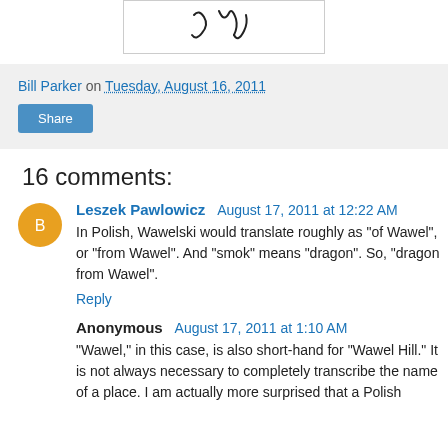[Figure (illustration): A sketched handwritten figure showing partial cursive letters or symbols, white background with border]
Bill Parker on Tuesday, August 16, 2011
Share
16 comments:
Leszek Pawlowicz  August 17, 2011 at 12:22 AM
In Polish, Wawelski would translate roughly as "of Wawel", or "from Wawel". And "smok" means "dragon". So, "dragon from Wawel".
Reply
Anonymous  August 17, 2011 at 1:10 AM
"Wawel," in this case, is also short-hand for "Wawel Hill." It is not always necessary to completely transcribe the name of a place. I am actually more surprised that a Polish